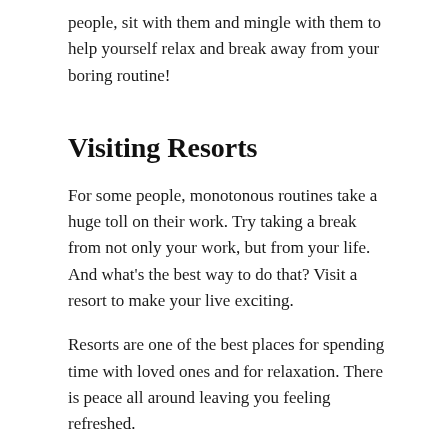people, sit with them and mingle with them to help yourself relax and break away from your boring routine!
Visiting Resorts
For some people, monotonous routines take a huge toll on their work. Try taking a break from not only your work, but from your life. And what's the best way to do that? Visit a resort to make your live exciting.
Resorts are one of the best places for spending time with loved ones and for relaxation. There is peace all around leaving you feeling refreshed.
Apart from that, a person gets some time to spend for himself or with his family or friends.
Visiting resorts can be really very enjoyable. One of the